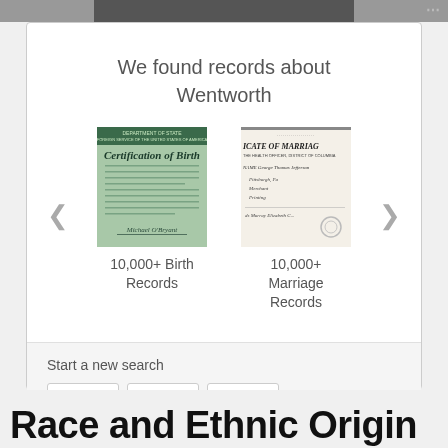We found records about Wentworth
[Figure (illustration): Certification of Birth document thumbnail - green tinted official document]
10,000+ Birth Records
[Figure (illustration): Certificate of Marriage document thumbnail - handwritten official document]
10,000+ Marriage Records
Start a new search
Race and Ethnic Origin